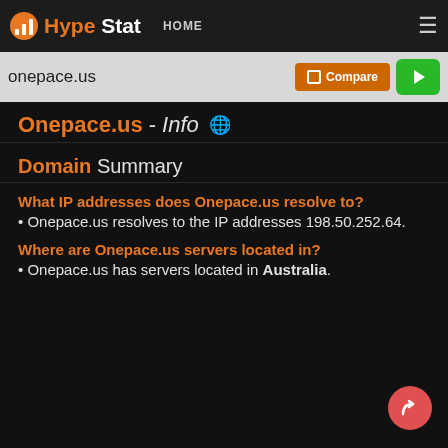HypeStat HOME
onepace.us
Onepace.us - Info
Domain Summary
What IP addresses does Onepace.us resolve to?
Onepace.us resolves to the IP addresses 198.50.252.64.
Where are Onepace.us servers located in?
Onepace.us has servers located in Australia.